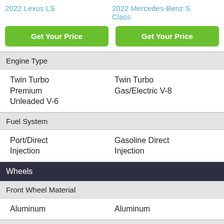2022 Lexus LS
2022 Mercedes-Benz S Class
Get Your Price
Get Your Price
Engine Type
Twin Turbo Premium Unleaded V-6
Twin Turbo Gas/Electric V-8
Fuel System
Port/Direct Injection
Gasoline Direct Injection
Wheels
Front Wheel Material
Aluminum
Aluminum
Spare Wheel Material